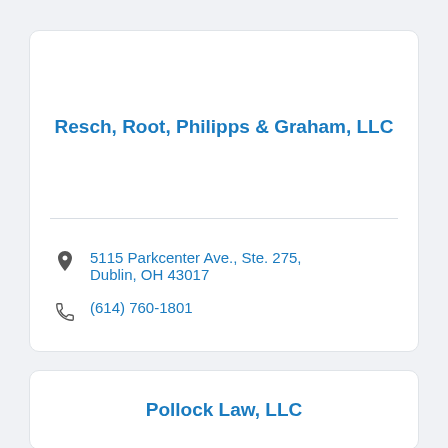Resch, Root, Philipps & Graham, LLC
5115 Parkcenter Ave., Ste. 275, Dublin, OH 43017
(614) 760-1801
Pollock Law, LLC